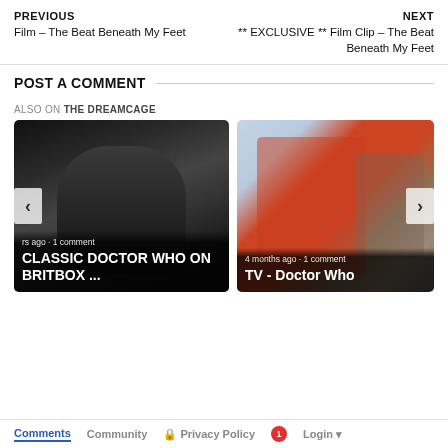PREVIOUS
Film - The Beat Beneath My Feet
NEXT
** EXCLUSIVE ** Film Clip - The Beat Beneath My Feet
POST A COMMENT
ALSO ON THE DREAMCAGE
[Figure (photo): Black and white photo card with text overlay: time ago · 1 comment / CLASSIC DOCTOR WHO ON BRITBOX ...]
[Figure (photo): Color photo card of two people (man in red jacket, woman in gray) with text overlay: 4 months ago · 1 comment / TV - Doctor Who]
Comments   Community   Privacy Policy   1   Login